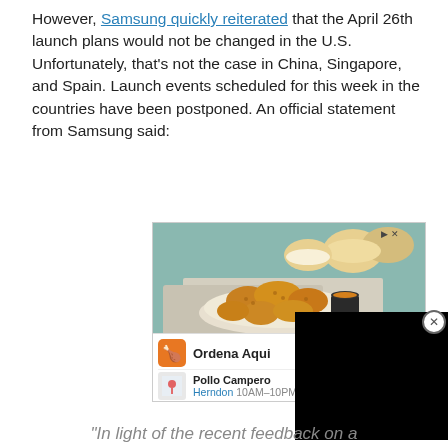However, Samsung quickly reiterated that the April 26th launch plans would not be changed in the U.S. Unfortunately, that's not the case in China, Singapore, and Spain. Launch events scheduled for this week in the countries have been postponed. An official statement from Samsung said:
[Figure (photo): Advertisement image showing fried chicken pieces on a plate with dipping sauce and bread rolls in background. Ad for Pollo Campero with 'Ordena Aqui' button and location details: Herndon 10AM-10PM.]
“In light of the recent feedback on a